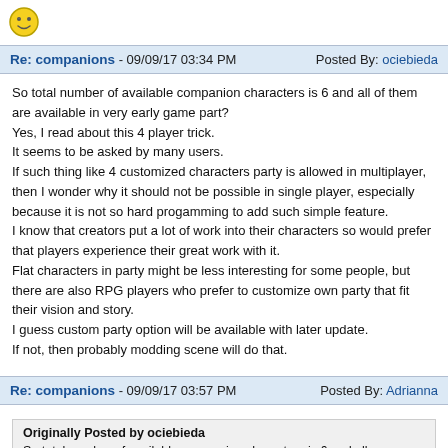[Figure (illustration): Small smiley face emoji icon]
Re: companions - 09/09/17 03:34 PM   Posted By: ociebieda
So total number of available companion characters is 6 and all of them are available in very early game part?
Yes, I read about this 4 player trick.
It seems to be asked by many users.
If such thing like 4 customized characters party is allowed in multiplayer, then I wonder why it should not be possible in single player, especially because it is not so hard progamming to add such simple feature.
I know that creators put a lot of work into their characters so would prefer that players experience their great work with it.
Flat characters in party might be less interesting for some people, but there are also RPG players who prefer to customize own party that fit their vision and story.
I guess custom party option will be available with later update.
If not, then probably modding scene will do that.
Re: companions - 09/09/17 03:57 PM   Posted By: Adrianna
Originally Posted by ociebieda
So total number of available companion characters is 6 and all